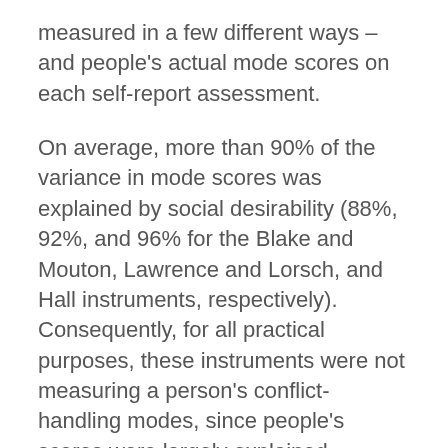measured in a few different ways – and people's actual mode scores on each self-report assessment.
On average, more than 90% of the variance in mode scores was explained by social desirability (88%, 92%, and 96% for the Blake and Mouton, Lawrence and Lorsch, and Hall instruments, respectively). Consequently, for all practical purposes, these instruments were not measuring a person's conflict-handling modes, since people's scores were largely explained (accounted for) by social desirability.
To make a long story short, Ken and I